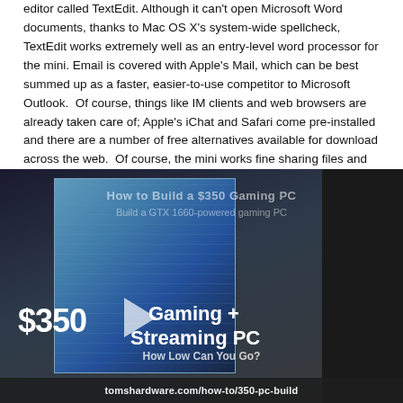editor called TextEdit. Although it can't open Microsoft Word documents, thanks to Mac OS X's system-wide spellcheck, TextEdit works extremely well as an entry-level word processor for the mini. Email is covered with Apple's Mail, which can be best summed up as a faster, easier-to-use competitor to Microsoft Outlook. Of course, things like IM clients and web browsers are already taken care of; Apple's iChat and Safari come pre-installed and there are a number of free alternatives available for download across the web. Of course, the mini works fine sharing files and printers with PCs, and has one-click web and ftp servers ready to go out of the box.
[Figure (screenshot): Video thumbnail showing a gaming PC build inside a blue-lit case, with overlay text '$350 Gaming + Streaming PC – How Low Can You Go?' and URL tomshardware.com/how-to/350-pc-build]